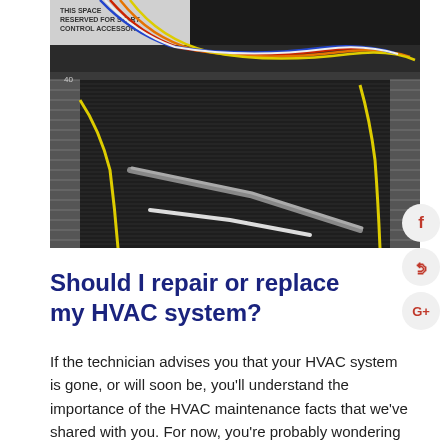[Figure (photo): Interior of an HVAC unit showing wiring, coils, and components. A label reads 'THIS SPACE RESERVED FOR START CONTROL ACCESSORY'. Colored wires visible at top, dark fin coils dominate the lower half.]
Should I repair or replace my HVAC system?
If the technician advises you that your HVAC system is gone, or will soon be, you'll understand the importance of the HVAC maintenance facts that we've shared with you. For now, you're probably wondering if another